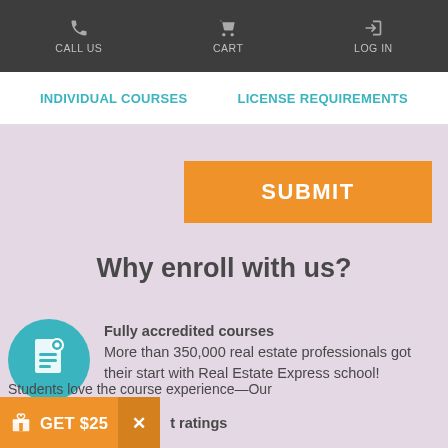CALL US | CART | LOG IN
INDIVIDUAL COURSES | LICENSE REQUIREMENTS
[Figure (other): Orange SUBMIT button on lavender background]
Why enroll with us?
[Figure (illustration): Teal circle with document/accreditation icon]
Fully accredited courses
More than 350,000 real estate professionals got their start with Real Estate Express school!
GET $25  ×  t ratings  Students love the course experience—Our